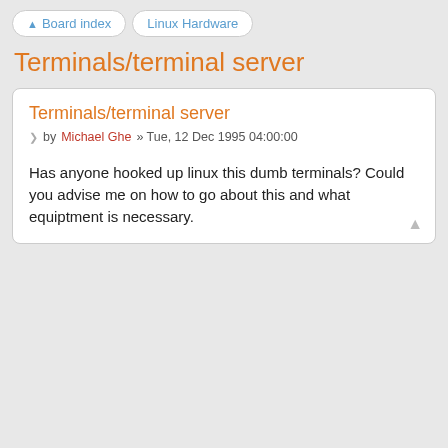Board index  Linux Hardware
Terminals/terminal server
Terminals/terminal server
by Michael Ghe » Tue, 12 Dec 1995 04:00:00
Has anyone hooked up linux this dumb terminals? Could you advise me on how to go about this and what equiptment is necessary.